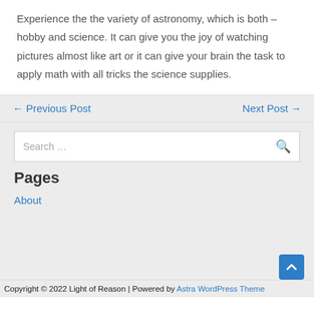Experience the the variety of astronomy, which is both – hobby and science. It can give you the joy of watching pictures almost like art or it can give your brain the task to apply math with all tricks the science supplies.
← Previous Post
Next Post →
[Figure (other): Search box with search icon]
Pages
About
Copyright © 2022 Light of Reason | Powered by Astra WordPress Theme